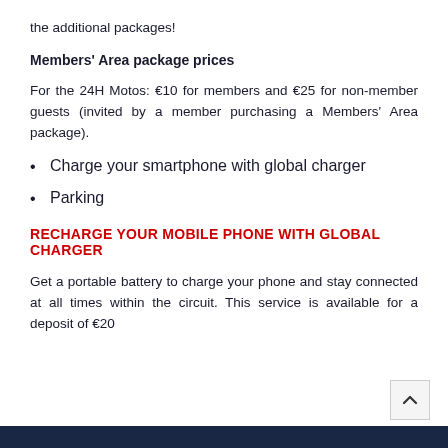the additional packages!
Members' Area package prices
For the 24H Motos: €10 for members and €25 for non-member guests (invited by a member purchasing a Members' Area package).
Charge your smartphone with global charger
Parking
RECHARGE YOUR MOBILE PHONE WITH GLOBAL CHARGER
Get a portable battery to charge your phone and stay connected at all times within the circuit. This service is available for a deposit of €20